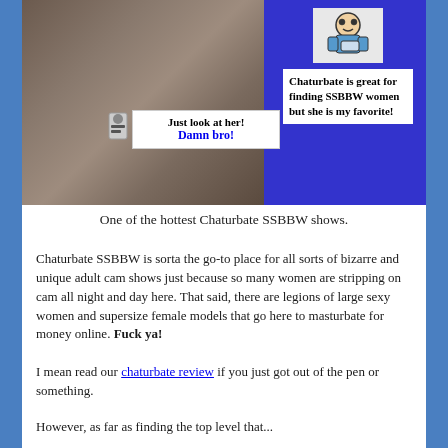[Figure (photo): Promotional image with a woman in lingerie on the left side and a blue panel on the right with a cartoon mascot and text about Chaturbate SSBBW. A speech bubble overlay reads 'Just look at her! Damn bro!']
One of the hottest Chaturbate SSBBW shows.
Chaturbate SSBBW is sorta the go-to place for all sorts of bizarre and unique adult cam shows just because so many women are stripping on cam all night and day here. That said, there are legions of large sexy women and supersize female models that go here to masturbate for money online. Fuck ya!
I mean read our chaturbate review if you just got out of the pen or something.
However, as far as finding the top level that...